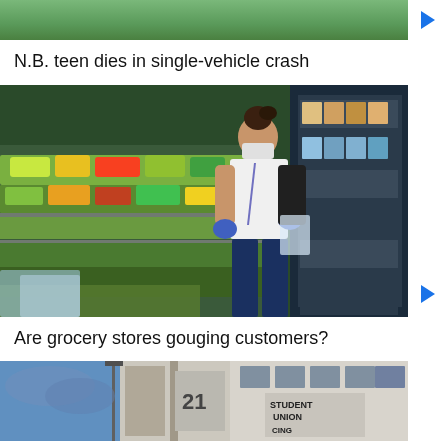[Figure (photo): Cropped top portion of an outdoor or nature scene, green foliage visible]
N.B. teen dies in single-vehicle crash
[Figure (photo): A grocery store worker wearing a mask and blue gloves picking vegetables from a produce display shelf]
Are grocery stores gouging customers?
[Figure (photo): Exterior of a building with a Student Union sign visible, number 21 on the building]